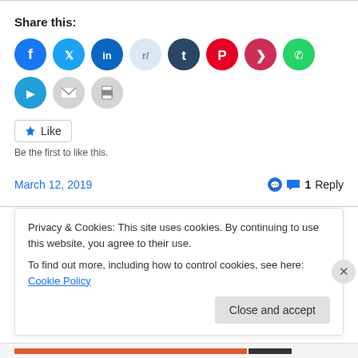Share this:
[Figure (infographic): Row of social media sharing icon buttons: Facebook (blue), Twitter (light blue), LinkedIn (blue), Reddit (light grey), Tumblr (dark navy), Pinterest (red), Pocket (red), WhatsApp (green), Telegram (blue), Email (grey), Print (grey)]
Be the first to like this.
March 12, 2019   💬 1 Reply
Why the Worldly Pressure for
Privacy & Cookies: This site uses cookies. By continuing to use this website, you agree to their use.
To find out more, including how to control cookies, see here: Cookie Policy
Close and accept